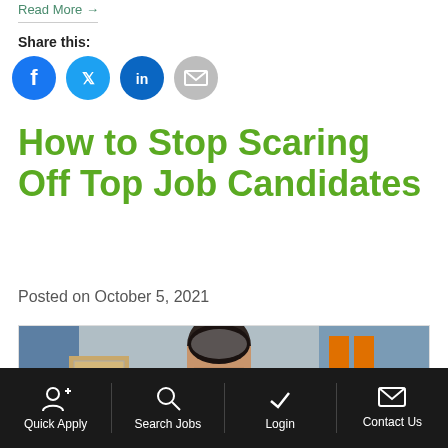Read More →
Share this:
[Figure (infographic): Four social sharing icon buttons: Facebook (blue), Twitter (light blue), LinkedIn (dark blue), Email (gray)]
How to Stop Scaring Off Top Job Candidates
Posted on October 5, 2021
[Figure (photo): A person in a warehouse wearing a hard hat/safety vest, partially cropped]
Quick Apply | Search Jobs | Login | Contact Us